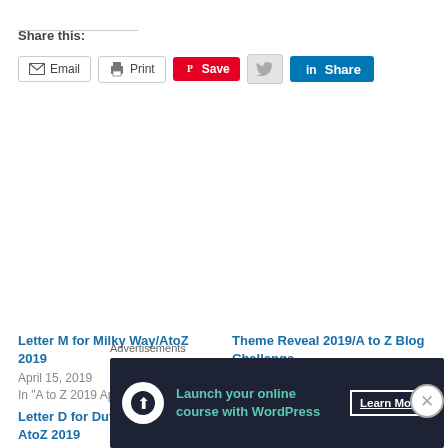Share this:
[Figure (infographic): Share buttons: Email, Print, Save (Pinterest), Twitter, LinkedIn Share]
Letter M for Milky Way/AtoZ 2019
April 15, 2019
In "A to Z 2019 April Blog Challenge"
Theme Reveal 2019/A to Z Blog Challenge
March 18, 2019
In "A to Z 2019 April Blog Challenge"
Letter D for Dutchman's Puzzle/ AtoZ 2019
Advertisements
[Figure (infographic): Advertisement banner: dark background, circular icon, text 'Launch your online course with WordPress', 'Learn More' button]